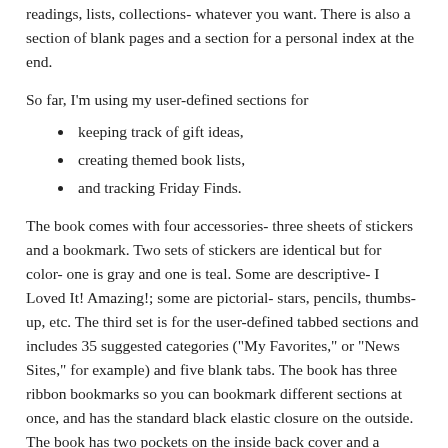readings, lists, collections- whatever you want. There is also a section of blank pages and a section for a personal index at the end.
So far, I'm using my user-defined sections for
keeping track of gift ideas,
creating themed book lists,
and tracking Friday Finds.
The book comes with four accessories- three sheets of stickers and a bookmark. Two sets of stickers are identical but for color- one is gray and one is teal. Some are descriptive- I Loved It! Amazing!; some are pictorial- stars, pencils, thumbs-up, etc. The third set is for the user-defined tabbed sections and includes 35 suggested categories ("My Favorites," or "News Sites," for example) and five blank tabs. The book has three ribbon bookmarks so you can bookmark different sections at once, and has the standard black elastic closure on the outside. The book has two pockets on the inside back cover and a booklet translating a bunch of bookish terms into various languages.